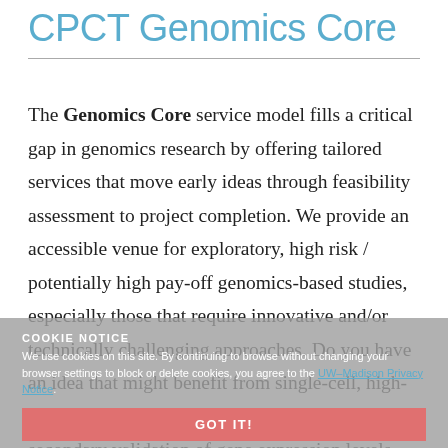CPCT Genomics Core
The Genomics Core service model fills a critical gap in genomics research by offering tailored services that move early ideas through feasibility assessment to project completion. We provide an accessible venue for exploratory, high risk / potentially high pay-off genomics-based studies, especially those that require innovative and/or technically challenging approaches. Do you have an idea that might benefit from single-cell, high-throughput, or re-sequencing approaches? Or secondary validation of gene expression levels using novel technologies like NanoString? Give us a call or shoot us an email! We’re here to help you.
COOKIE NOTICE
We use cookies on this site. By continuing to browse without changing your browser settings to block or delete cookies, you agree to the UW–Madison Privacy Notice.
GOT IT!
The basic production capacity utilizes the CPCT